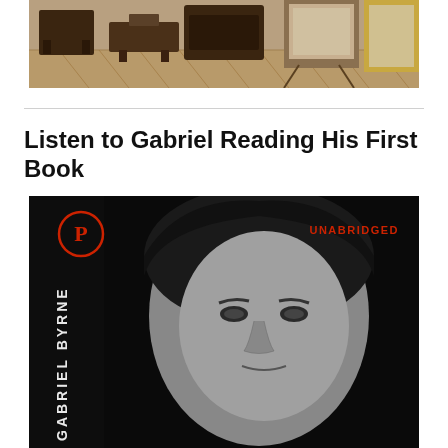[Figure (photo): Interior room scene with wooden floor, antique furniture including dark wooden chairs, framed artworks or paintings on easels]
Listen to Gabriel Reading His First Book
[Figure (photo): Black and white audiobook cover for Gabriel Byrne, showing a close-up portrait of Gabriel Byrne with text 'GABRIEL BYRNE' vertically on the left side, a red circled P logo (Brilliance Audio), and the word 'UNABRIDGED' in red on the upper right]